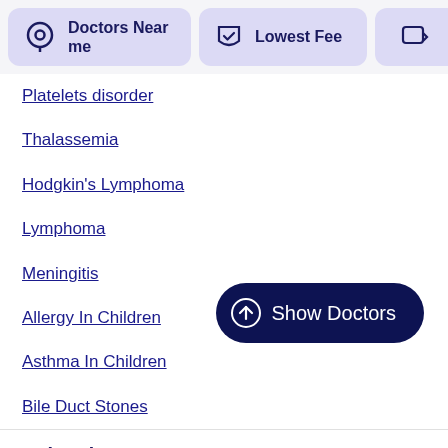[Figure (screenshot): Navigation bar with 'Doctors Near me' card with location icon, 'Lowest Fee' card with shield icon, and partial third card]
Platelets disorder
Thalassemia
Hodgkin's Lymphoma
Lymphoma
Meningitis
Allergy In Children
Asthma In Children
Bile Duct Stones
Related Treatments
Biopsy